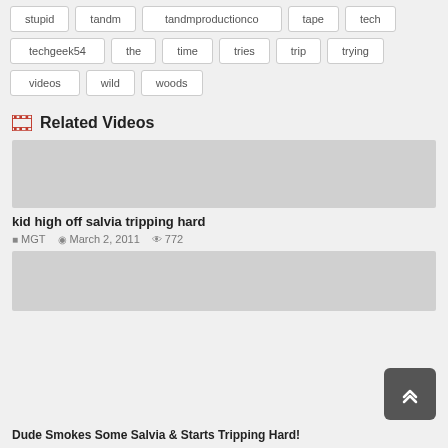stupid
tandm
tandmproductionco
tape
tech
techgeek54
the
time
tries
trip
trying
videos
wild
woods
Related Videos
[Figure (other): Video thumbnail placeholder (gray box)]
kid high off salvia tripping hard
MGT   March 2, 2011   772
[Figure (other): Second video thumbnail placeholder (gray box)]
Dude Smokes Some Salvia & Starts Tripping Hard!